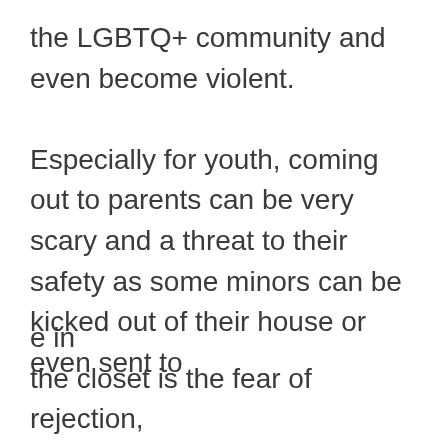the LGBTQ+ community and even become violent.
Especially for youth, coming out to parents can be very scary and a threat to their safety as some minors can be kicked out of their house or even sent to
[Figure (screenshot): Cookie consent popup overlay with black background. Text reads: 'We use cookies to ensure that we give you the best experience on our website.' A 'Learn more' underlined link below, then an OK button with teal/cyan border.]
e in the closet is the fear of rejection,